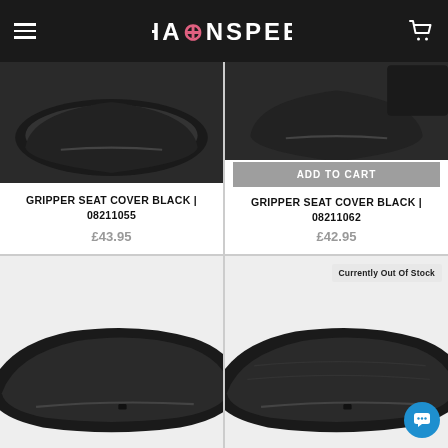CHAINSPEED
[Figure (photo): Gripper seat cover black motorcycle seat, dark background, top-left product card]
GRIPPER SEAT COVER BLACK | 08211055
£43.95
[Figure (photo): Gripper seat cover black motorcycle seat, dark background, top-right product card]
ADD TO CART
GRIPPER SEAT COVER BLACK | 08211062
£42.95
[Figure (photo): Black gripper seat cover, full seat shape visible, bottom-left product card]
[Figure (photo): Black gripper seat cover, full seat shape visible, bottom-right product card, marked currently out of stock]
Currently Out Of Stock